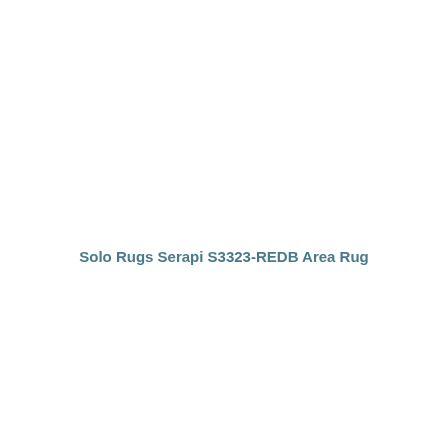Solo Rugs Serapi S3323-REDB Area Rug